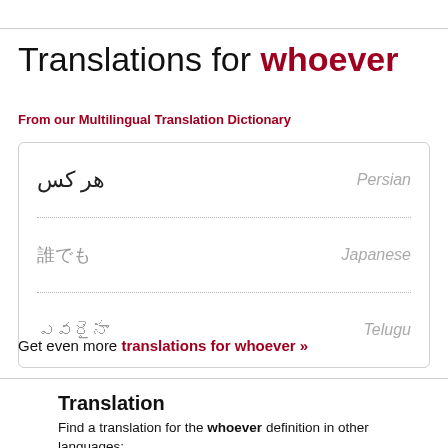Translations for whoever
From our Multilingual Translation Dictionary
| Translation | Language |
| --- | --- |
| هر کس | Persian |
| 誰でも | Japanese |
| ఎవరైనా | Telugu |
Get even more translations for whoever »
Translation
Find a translation for the whoever definition in other languages: